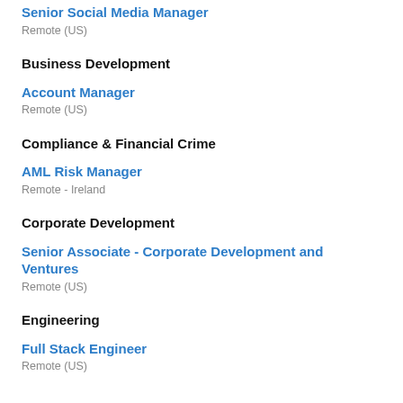Senior Social Media Manager
Remote (US)
Business Development
Account Manager
Remote (US)
Compliance & Financial Crime
AML Risk Manager
Remote - Ireland
Corporate Development
Senior Associate - Corporate Development and Ventures
Remote (US)
Engineering
Full Stack Engineer
Remote (US)